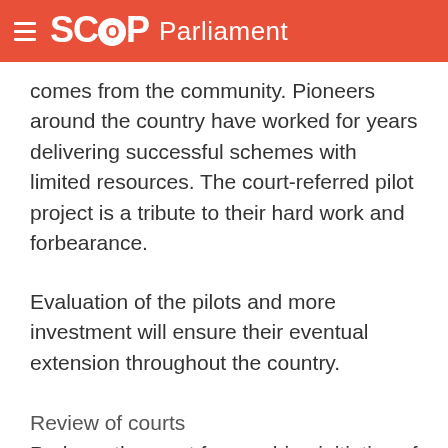SCOOP Parliament
comes from the community. Pioneers around the country have worked for years delivering successful schemes with limited resources. The court-referred pilot project is a tribute to their hard work and forbearance.
Evaluation of the pilots and more investment will ensure their eventual extension throughout the country.
Review of courts
Perhaps the most far-reaching initiative of all is the Review of Courts.